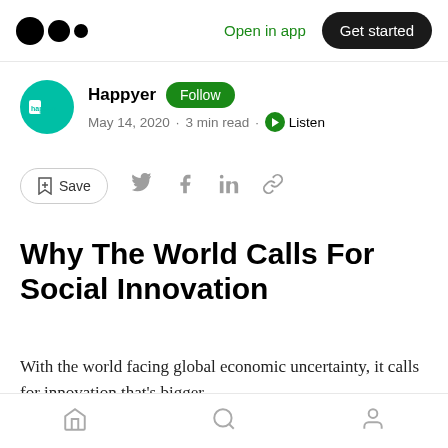Medium logo | Open in app | Get started
Happyer  Follow
May 14, 2020 · 3 min read · Listen
Save (social share icons)
Why The World Calls For Social Innovation
With the world facing global economic uncertainty, it calls for innovation that's bigger
Home | Search | Profile